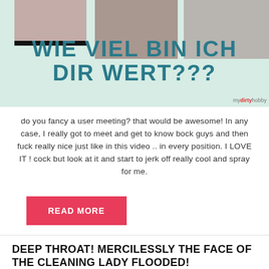[Figure (photo): Thumbnail collage with mint green background showing text overlay in teal: WIE VIEL BIN ICH DIR WERT??? with mydirtyhobby watermark]
do you fancy a user meeting? that would be awesome! In any case, I really got to meet and get to know bock guys and then fuck really nice just like in this video .. in every position. I LOVE IT ! cock but look at it and start to jerk off really cool and spray for me.
READ MORE
DEEP THROAT! MERCILESSLY THE FACE OF THE CLEANING LADY FLOODED!